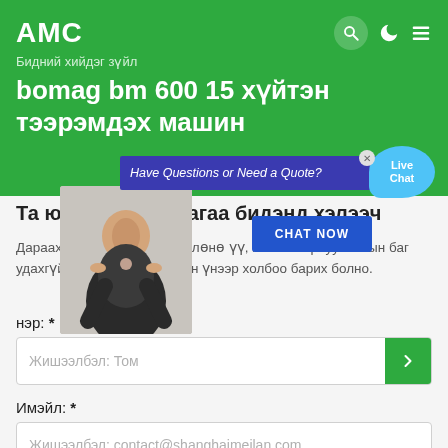АМС
Бидний хийдэг зүйл
bomag bm 600 15 хүйтэн тээрэмдэх машин
[Figure (screenshot): Live chat popup with customer service representative photo, 'Have Questions or Need a Quote?' banner, and CHAT NOW button]
Та юу хайж байгаагаа бидэнд хэлээч
Дараах маягтыг бөглөж бөглөнө үү, манай борлуулалтын баг удахгүй тантай хамгийн сайн үнээр холбоо барих болно.
нэр: *
Жишээлбэл: Том
Имэйл: *
Жишээлбэл: contact@shanghaimeilan.com